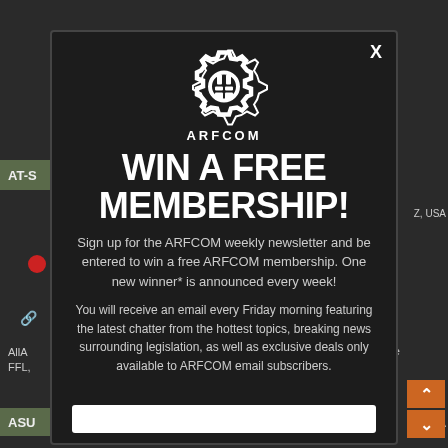[Figure (screenshot): ARFCOM website screenshot in background showing navigation bars, red dot, link icon, text snippets, orange scroll arrows, and 'Z, USA' labels]
[Figure (illustration): ARFCOM gear/cog logo in white SVG]
WIN A FREE MEMBERSHIP!
Sign up for the ARFCOM weekly newsletter and be entered to win a free ARFCOM membership. One new winner* is announced every week!
You will receive an email every Friday morning featuring the latest chatter from the hottest topics, breaking news surrounding legislation, as well as exclusive deals only available to ARFCOM email subscribers.